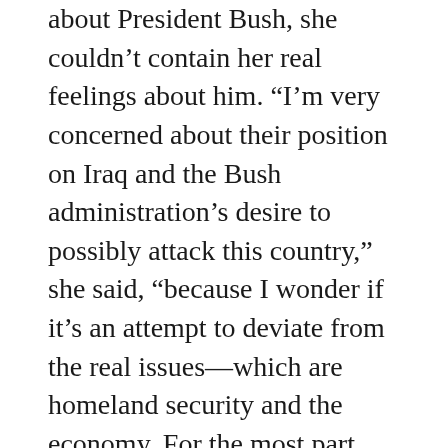about President Bush, she couldn’t contain her real feelings about him. “I’m very concerned about their position on Iraq and the Bush administration’s desire to possibly attack this country,” she said, “because I wonder if it’s an attempt to deviate from the real issues—which are homeland security and the economy. For the most part, Americans don’t make the time to make the distinctions between Iran, Iraq, Afghanistan and Al Qaeda. They’re all different entities, and I think that if we